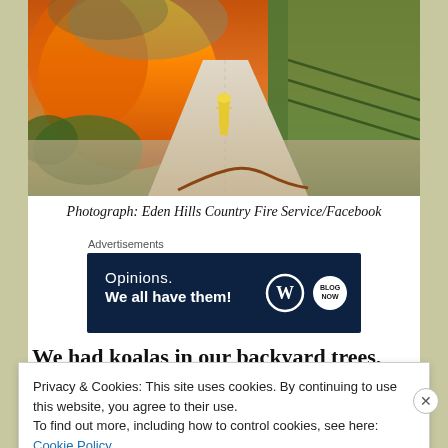[Figure (photo): A firefighter in yellow gear stands on a gravel path between vineyard rows with orange flames and smoke in the background]
Photograph: Eden Hills Country Fire Service/Facebook
Advertisements
[Figure (other): Advertisement banner: Opinions. We all have them! with WordPress and other logos on dark navy background]
We had koalas in our backyard trees, when I was a
Privacy & Cookies: This site uses cookies. By continuing to use this website, you agree to their use.
To find out more, including how to control cookies, see here: Cookie Policy
Close and accept